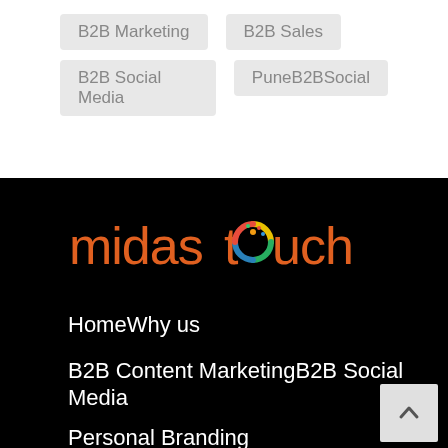B2B Marketing
B2B Sales
B2B Social Media
PuneB2BSocial
[Figure (logo): Midas Touch logo — stylized lowercase text 'midastouch' with a colorful circular swirl replacing the letter 'o', in orange and multicolor on black background]
HomeWhy us
B2B Content MarketingB2B Social Media
Personal Branding